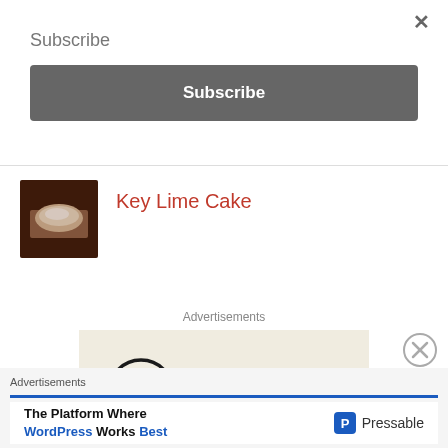×
Subscribe
Subscribe
[Figure (photo): Thumbnail image of key lime cake slice on a dark plate]
Key Lime Cake
Advertisements
[Figure (logo): WordPress logo (circle W) on light beige background]
Advertisements
The Platform Where WordPress Works Best
[Figure (logo): Pressable logo with P icon]